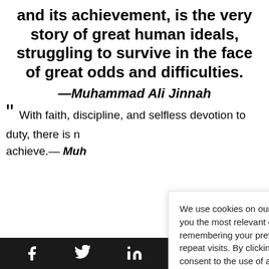and its achievement, is the very story of great human ideals, struggling to survive in the face of great odds and difficulties.
—Muhammad Ali Jinnah
“” With faith, discipline, and selfless devotion to duty, there is nothing worthwhile that you cannot achieve.— Muhammad Ali Jinnah
We use cookies on our website to give you the most relevant experience by remembering your preferences and repeat visits. By clicking “Accept”, you consent to the use of all the cookies.
Cookie settings
ACCEPT
TOP
Social media icons: Facebook, Twitter, LinkedIn, Instagram, WhatsApp